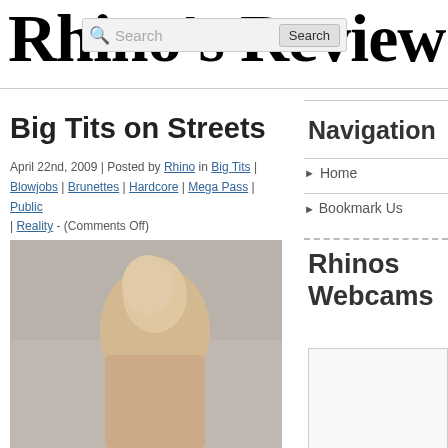Rhino's Review
Big Tits on Streets
April 22nd, 2009 | Posted by Rhino in Big Tits | Blowjobs | Brunettes | Hardcore | Mega Pass | Public | Reality - (Comments Off)
[Figure (photo): Photo of a blonde woman with heavy eye makeup, wearing a necklace, cropped image showing upper body against neutral background]
Navigation
Home
Bookmark Us
Rhinos Webcams